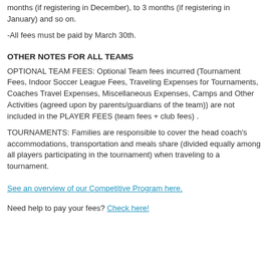months (if registering in December), to 3 months (if registering in January) and so on.
-All fees must be paid by March 30th.
OTHER NOTES FOR ALL TEAMS
OPTIONAL TEAM FEES: Optional Team fees incurred (Tournament Fees, Indoor Soccer League Fees, Traveling Expenses for Tournaments, Coaches Travel Expenses, Miscellaneous Expenses, Camps and Other Activities (agreed upon by parents/guardians of the team)) are not included in the PLAYER FEES (team fees + club fees) .
TOURNAMENTS: Families are responsible to cover the head coach's accommodations, transportation and meals share (divided equally among all players participating in the tournament) when traveling to a tournament.
See an overview of our Competitive Program here.
Need help to pay your fees? Check here!